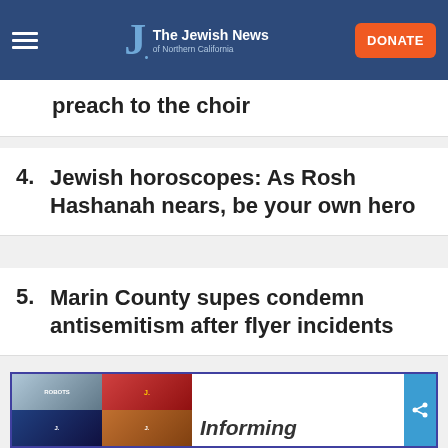The Jewish News of Northern California
preach to the choir
4. Jewish horoscopes: As Rosh Hashanah nears, be your own hero
5. Marin County supes condemn antisemitism after flyer incidents
[Figure (other): Advertisement box with magazine cover collage and text 'Informing']